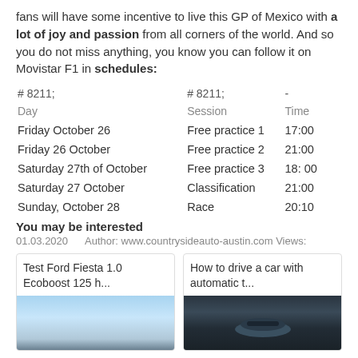fans will have some incentive to live this GP of Mexico with a lot of joy and passion from all corners of the world. And so you do not miss anything, you know you can follow it on Movistar F1 in schedules:
| Day | Session | Time |
| --- | --- | --- |
| Friday October 26 | Free practice 1 | 17:00 |
| Friday 26 October | Free practice 2 | 21:00 |
| Saturday 27th of October | Free practice 3 | 18: 00 |
| Saturday 27 October | Classification | 21:00 |
| Sunday, October 28 | Race | 20:10 |
You may be interested
01.03.2020     Author: www.countrysideauto-austin.com Views:
[Figure (photo): Card: Test Ford Fiesta 1.0 Ecoboost 125 h... with a car photo showing sky background]
[Figure (photo): Card: How to drive a car with automatic t... with a car interior photo]